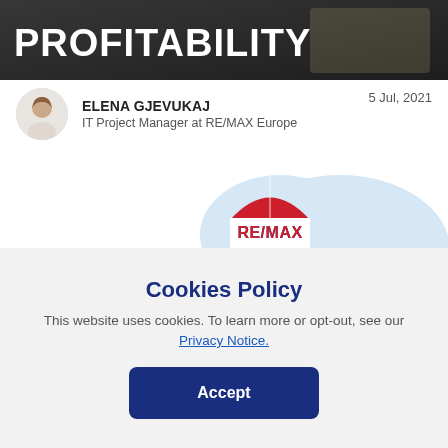[Figure (photo): Header banner image with dark background and bold white text 'PROFITABILITY']
ELENA GJEVUKAJ
IT Project Manager at RE/MAX Europe
5 Jul, 2021
[Figure (illustration): RE/MAX hot air balloon illustration with city skyline silhouette and light blue speech bubble cloud shape in the background]
Cookies Policy
This website uses cookies. To learn more or opt-out, see our Privacy Notice.
Accept